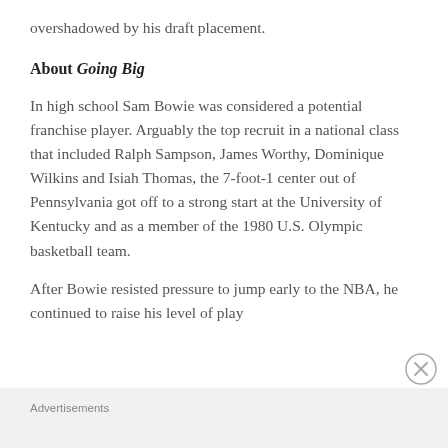overshadowed by his draft placement.
About Going Big
In high school Sam Bowie was considered a potential franchise player. Arguably the top recruit in a national class that included Ralph Sampson, James Worthy, Dominique Wilkins and Isiah Thomas, the 7-foot-1 center out of Pennsylvania got off to a strong start at the University of Kentucky and as a member of the 1980 U.S. Olympic basketball team.
After Bowie resisted pressure to jump early to the NBA, he continued to raise his level of play
Advertisements